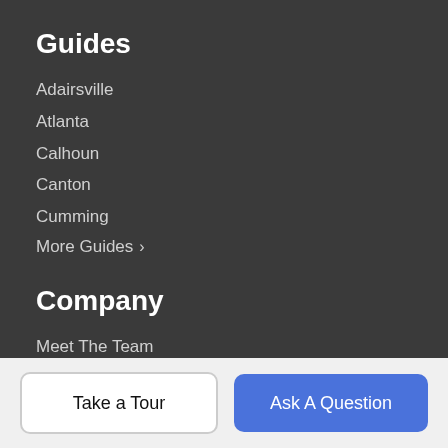Guides
Adairsville
Atlanta
Calhoun
Canton
Cumming
More Guides >
Company
Meet The Team
Our Blog
Contact Us
Resources
Buying Home
Take a Tour
Ask A Question